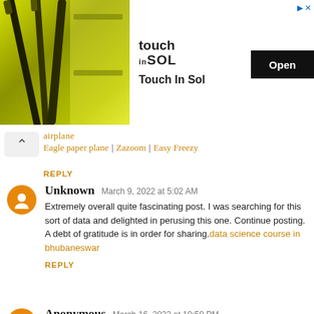[Figure (other): Advertisement banner for Touch In Sol cosmetics brand featuring mascara products with yellow/green packaging. Shows brand logo and an Open button.]
airplane
Eagle paper plane | Zazoom | Easy Freezy
REPLY
Unknown  March 9, 2022 at 5:02 AM
Extremely overall quite fascinating post. I was searching for this sort of data and delighted in perusing this one. Continue posting. A debt of gratitude is in order for sharing.data science course in bhubaneswar
REPLY
Anonymous  March 16, 2022 at 10:50 PM
I want to leave a little comment to support and wish you the best of luck.we wish you the best of luck in all your blogging enedevors